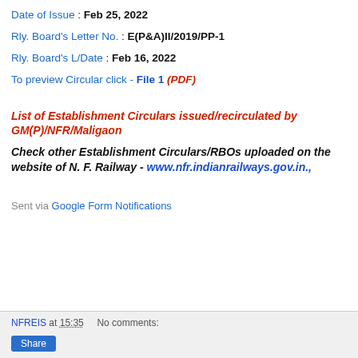Date of Issue : Feb 25, 2022
Rly. Board's Letter No. : E(P&A)II/2019/PP-1
Rly. Board's L/Date : Feb 16, 2022
To preview Circular click - File 1 (PDF)
List of Establishment Circulars issued/recirculated by GM(P)/NFR/Maligaon
Check other Establishment Circulars/RBOs uploaded on the website of N. F. Railway - www.nfr.indianrailways.gov.in.,
Sent via Google Form Notifications
NFREIS at 15:35    No comments:    Share